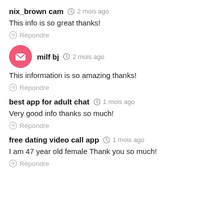nix_brown cam  2 mois ago
This info is so great thanks!
Répondre
milf bj  2 mois ago
This information is so amazing thanks!
Répondre
best app for adult chat  1 mois ago
Very good info thanks so much!
Répondre
free dating video call app  1 mois ago
I am 47 year old female Thank you so much!
Répondre